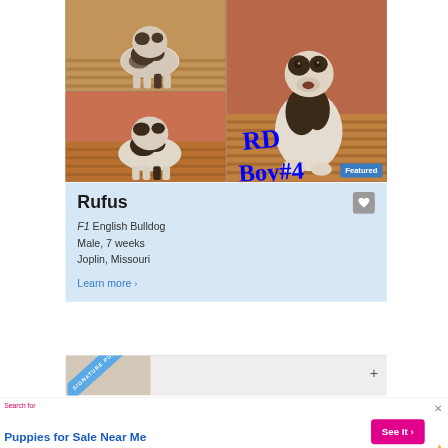[Figure (photo): Collage of four puppy photos showing English Bulldog puppies on hardwood floors with handwritten text 'RD Boy #4' in blue marker and a 'Featured' badge]
Rufus
F1 English Bulldog
Male, 7 weeks
Joplin, Missouri
Learn more ❯
[Figure (photo): Bottom listing preview card partially visible]
Search for
Puppies for Sale Near Me
See It ❯